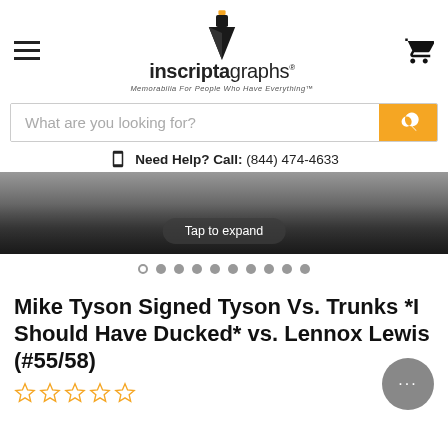[Figure (logo): Inscriptagraphs logo with pen nib icon and tagline 'Memorabilia For People Who Have Everything']
What are you looking for?
Need Help? Call: (844) 474-4633
[Figure (photo): Dark product image (boxing trunks) with 'Tap to expand' overlay button and image carousel dots]
Mike Tyson Signed Tyson Vs. Trunks *I Should Have Ducked* vs. Lennox Lewis (#55/58)